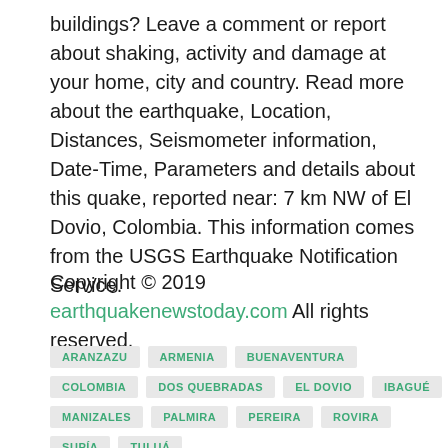buildings? Leave a comment or report about shaking, activity and damage at your home, city and country. Read more about the earthquake, Location, Distances, Seismometer information, Date-Time, Parameters and details about this quake, reported near: 7 km NW of El Dovio, Colombia. This information comes from the USGS Earthquake Notification Service.
Copyright © 2019 earthquakenewstoday.com All rights reserved.
ARANZAZU
ARMENIA
BUENAVENTURA
COLOMBIA
DOS QUEBRADAS
EL DOVIO
IBAGUÉ
MANIZALES
PALMIRA
PEREIRA
ROVIRA
SUPÍA
TULUÁ